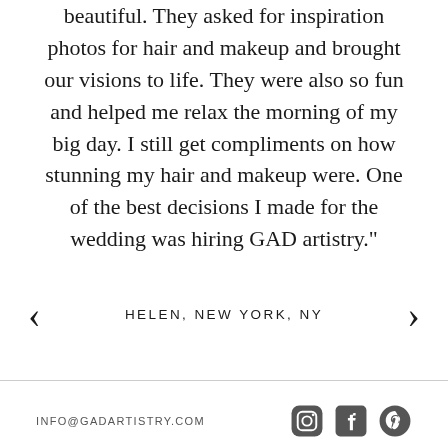beautiful. They asked for inspiration photos for hair and makeup and brought our visions to life. They were also so fun and helped me relax the morning of my big day. I still get compliments on how stunning my hair and makeup were. One of the best decisions I made for the wedding was hiring GAD artistry."
HELEN, NEW YORK, NY
INFO@GADARTISTRY.COM